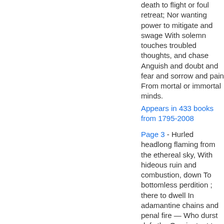death to flight or foul retreat; Nor wanting power to mitigate and swage With solemn touches troubled thoughts, and chase Anguish and doubt and fear and sorrow and pain From mortal or immortal minds.
Appears in 433 books from 1795-2008
Page 3 - Hurled headlong flaming from the ethereal sky, With hideous ruin and combustion, down To bottomless perdition ; there to dwell In adamantine chains and penal fire — Who durst defy the Omnipotent to arms